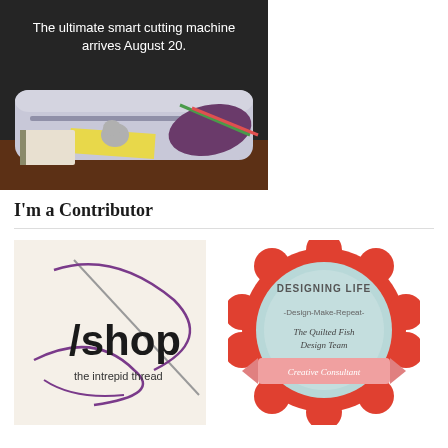[Figure (photo): Cricut cutting machine advertisement with text 'The ultimate smart cutting machine arrives August 20.' overlaid on a dark background, showing the white Cricut machine on a table with craft supplies including purple fabric, yellow paper, and a small elephant figurine.]
I'm a Contributor
[Figure (logo): The Intrepid Thread shop logo: a stylized needle with purple thread lines and text '/shop the intrepid thread' on a cream background.]
[Figure (logo): Designing Life badge logo: a red scalloped circle badge with light blue center, text 'Designing Life', '-Design-Make-Repeat-', 'The Quilted Fish Design Team', and a pink banner reading 'Creative Consultant'.]